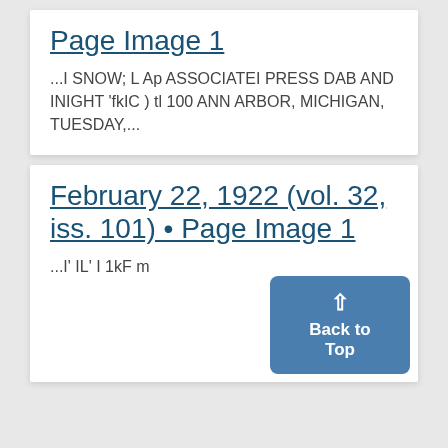Page Image 1
...I SNOW; L Ap ASSOCIATEI PRESS DAB AND INIGHT 'fkIC ) tl 100 ANN ARBOR, MICHIGAN, TUESDAY,...
February 22, 1922 (vol. 32, iss. 101) • Page Image 1
...I' IL' I 1kF m